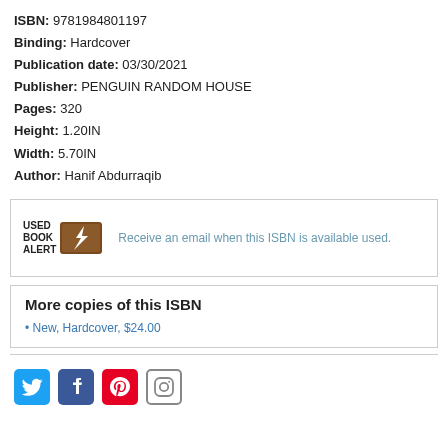ISBN: 9781984801197
Binding: Hardcover
Publication date: 03/30/2021
Publisher: PENGUIN RANDOM HOUSE
Pages: 320
Height: 1.20IN
Width: 5.70IN
Author: Hanif Abdurraqib
[Figure (infographic): Used Book Alert logo with brown book icon and text: USED BOOK ALERT. Message: Receive an email when this ISBN is available used.]
More copies of this ISBN
New, Hardcover, $24.00
[Figure (infographic): Social media icons: Twitter (blue bird), Facebook (blue f), Pinterest (red P), Instagram (camera outline)]